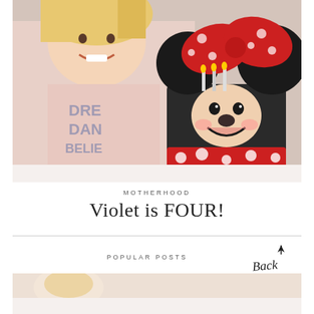[Figure (photo): Young girl smiling with a Minnie Mouse themed birthday cake decorated with red polka dot bow and ears]
MOTHERHOOD
Violet is FOUR!
POPULAR POSTS
[Figure (illustration): Back to top button with cursive handwriting style text and upward arrow]
[Figure (photo): Bottom photo partially visible showing a young child]